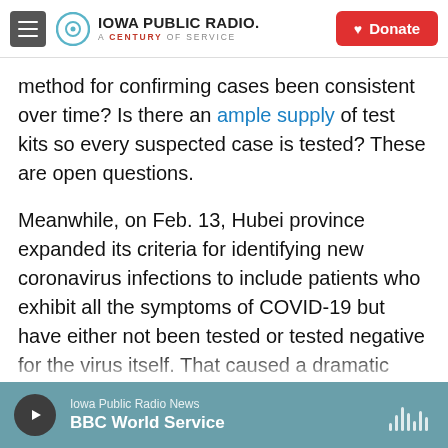Iowa Public Radio – A Century of Service | Donate
method for confirming cases been consistent over time? Is there an ample supply of test kits so every suspected case is tested? These are open questions.
Meanwhile, on Feb. 13, Hubei province expanded its criteria for identifying new coronavirus infections to include patients who exhibit all the symptoms of COVID-19 but have either not been tested or tested negative for the virus itself. That caused a dramatic spike in reported cases at the epicenter of the disease
Iowa Public Radio News – BBC World Service